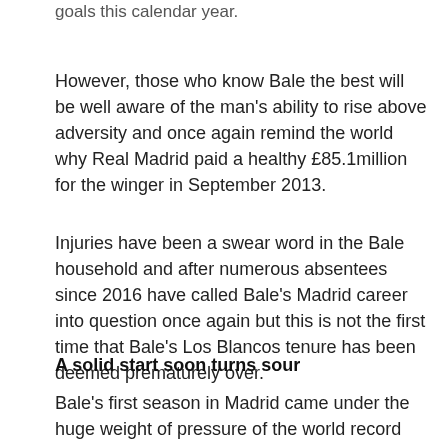goals this calendar year.
However, those who know Bale the best will be well aware of the man's ability to rise above adversity and once again remind the world why Real Madrid paid a healthy £85.1million for the winger in September 2013.
Injuries have been a swear word in the Bale household and after numerous absentees since 2016 have called Bale's Madrid career into question once again but this is not the first time that Bale's Los Blancos tenure has been deemed prematurely over.
A solid start soon turns sour
Bale's first season in Madrid came under the huge weight of pressure of the world record transfer fee hanging over